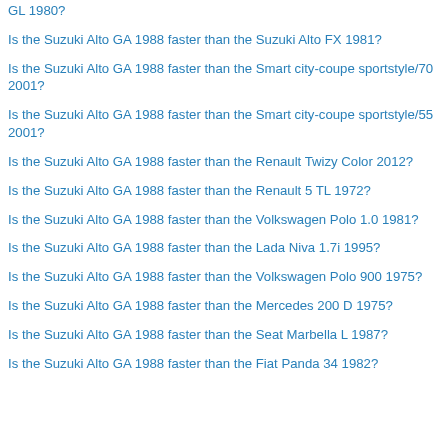GL 1980?
Is the Suzuki Alto GA 1988 faster than the Suzuki Alto FX 1981?
Is the Suzuki Alto GA 1988 faster than the Smart city-coupe sportstyle/70 2001?
Is the Suzuki Alto GA 1988 faster than the Smart city-coupe sportstyle/55 2001?
Is the Suzuki Alto GA 1988 faster than the Renault Twizy Color 2012?
Is the Suzuki Alto GA 1988 faster than the Renault 5 TL 1972?
Is the Suzuki Alto GA 1988 faster than the Volkswagen Polo 1.0 1981?
Is the Suzuki Alto GA 1988 faster than the Lada Niva 1.7i 1995?
Is the Suzuki Alto GA 1988 faster than the Volkswagen Polo 900 1975?
Is the Suzuki Alto GA 1988 faster than the Mercedes 200 D 1975?
Is the Suzuki Alto GA 1988 faster than the Seat Marbella L 1987?
Is the Suzuki Alto GA 1988 faster than the Fiat Panda 34 1982?